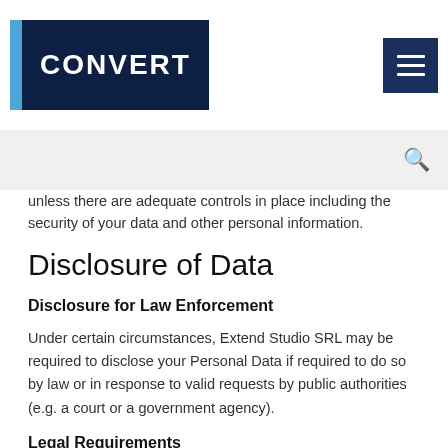[Figure (logo): Convert logo: blue vertical bar beside dark navy box with white text CONVERT, plus hamburger menu icon on the right]
[Figure (screenshot): Search bar with magnifying glass icon on grey background]
unless there are adequate controls in place including the security of your data and other personal information.
Disclosure of Data
Disclosure for Law Enforcement
Under certain circumstances, Extend Studio SRL may be required to disclose your Personal Data if required to do so by law or in response to valid requests by public authorities (e.g. a court or a government agency).
Legal Requirements